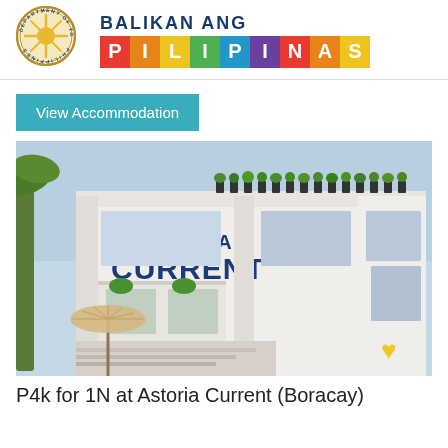[Figure (logo): Department of Tourism Philippines circular seal logo and Balikan Ang Pilipinas colorful text logo]
View Accommodation
[Figure (photo): Exterior photo of Astoria Current hotel in Boracay — white modern building with 'ASTORIA CURRENT' signage, rooftop plants, balconies with green plants, umbrella and stairs in foreground]
P4k for 1N at Astoria Current (Boracay)